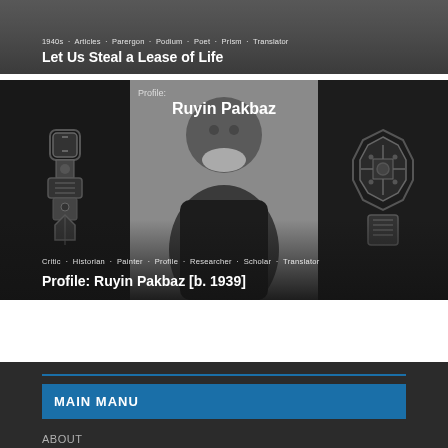[Figure (photo): Top card with dark/gray background. Tags: 1940s, Articles, Parergon, Podium, Poet, Prism, Translator. Title: Let Us Steal a Lease of Life]
Let Us Steal a Lease of Life
[Figure (photo): Profile card for Ruyin Pakbaz [b. 1939]. Dark background with decorative ornaments on left and right, portrait photo in center. Tags: Critic, Historian, Painter, Profile, Researcher, Scholar, Translator.]
Profile: Ruyin Pakbaz [b. 1939]
MAIN MANU
ABOUT